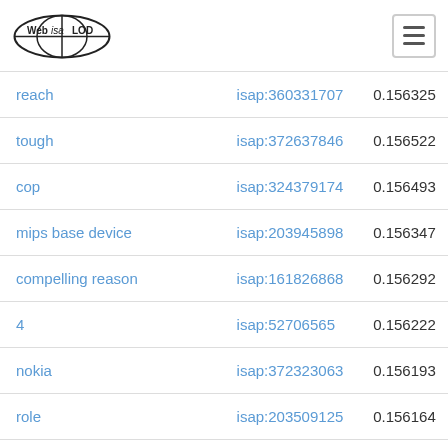Web isa LOD [logo] [hamburger menu]
| term | isap id | score |
| --- | --- | --- |
| reach | isap:360331707 | 0.156325 |
| tough | isap:372637846 | 0.156522 |
| cop | isap:324379174 | 0.156493 |
| mips base device | isap:203945898 | 0.156347 |
| compelling reason | isap:161826868 | 0.156292 |
| 4 | isap:52706565 | 0.156222 |
| nokia | isap:372323063 | 0.156193 |
| role | isap:203509125 | 0.156164 |
| piece of work | isap:374115355 | 0.156160 |
| writing | isap:229876090 | 0.156146 |
| directory | isap:335556442 | 0.156117 |